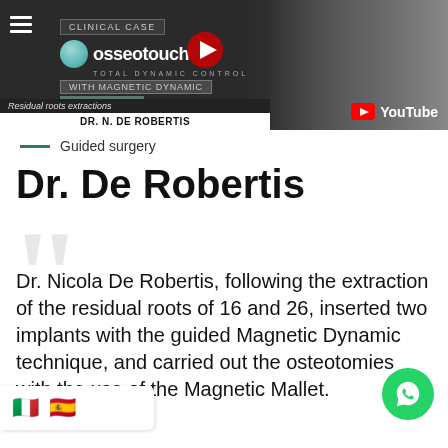[Figure (screenshot): YouTube thumbnail banner for Osseotouch clinical case featuring Dr. N. De Robertis on residual roots extractions using Magnetic Dynamic technique]
Guided surgery
Dr. De Robertis
Dr. Nicola De Robertis, following the extraction of the residual roots of 16 and 26, inserted two implants with the guided Magnetic Dynamic technique, and carried out the osteotomies with the use of the Magnetic Mallet.